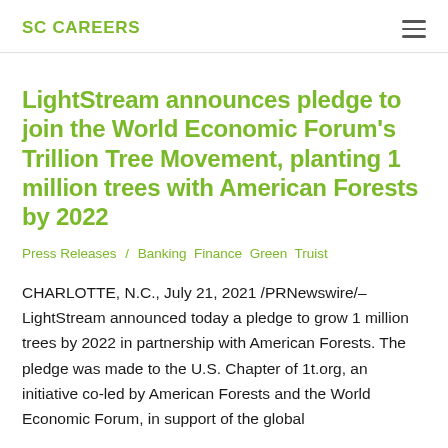SC CAREERS
LightStream announces pledge to join the World Economic Forum’s Trillion Tree Movement, planting 1 million trees with American Forests by 2022
Press Releases / Banking Finance Green Truist
CHARLOTTE, N.C., July 21, 2021 /PRNewswire/– LightStream announced today a pledge to grow 1 million trees by 2022 in partnership with American Forests. The pledge was made to the U.S. Chapter of 1t.org, an initiative co-led by American Forests and the World Economic Forum, in support of the global